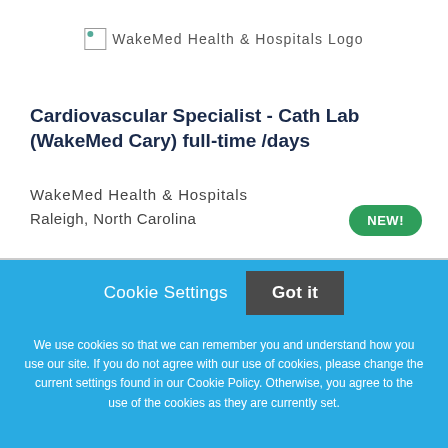[Figure (logo): WakeMed Health & Hospitals Logo — broken image placeholder with text]
Cardiovascular Specialist - Cath Lab (WakeMed Cary) full-time /days
WakeMed Health & Hospitals
Raleigh, North Carolina
NEW!
Cookie Settings
Got it
We use cookies so that we can remember you and understand how you use our site. If you do not agree with our use of cookies, please change the current settings found in our Cookie Policy. Otherwise, you agree to the use of the cookies as they are currently set.